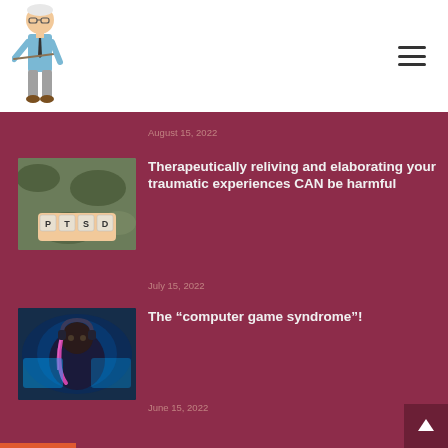[Figure (illustration): Cartoon elderly professor with glasses and pointer]
August 15, 2022
[Figure (photo): Hands holding wooden letter blocks spelling PTSD on military camouflage background]
Therapeutically reliving and elaborating your traumatic experiences CAN be harmful
July 15, 2022
[Figure (photo): Person with headphones in neon blue gaming light]
The “computer game syndrome”!
June 15, 2022